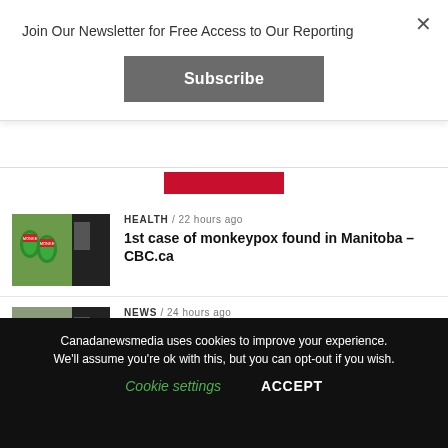Join Our Newsletter for Free Access to Our Reporting
Subscribe
HEALTH / 22 hours ago
1st case of monkeypox found in Manitoba – CBC.ca
[Figure (photo): Photo of monkeypox vaccine vials with green caps and red labels]
NEWS / 24 hours ago
Tlicho reflect on legacy of Treaty 11 during 100-year celebrations
[Figure (photo): Photo of people gathered outdoors at an event]
SCIENCE / 18 hours ago
[Figure (photo): Partial photo with blue sky and dark area]
Canadanewsmedia uses cookies to improve your experience. We'll assume you're ok with this, but you can opt-out if you wish.
Cookie settings
ACCEPT